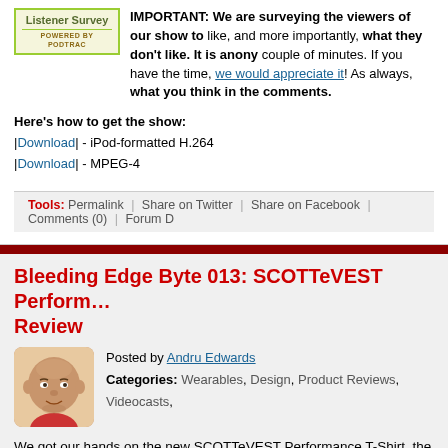IMPORTANT: We are surveying the viewers of our show to find out what they like, and more importantly, what they don't like. It is anonymous and only takes a couple of minutes. If you have the time, we would appreciate it! As always, let us know what you think in the comments.
Here's how to get the show:
|Download| - iPod-formatted H.264
|Download| - MPEG-4
Tools: Permalink | Share on Twitter | Share on Facebook | Comments (0) | Forum D
Bleeding Edge Byte 013: SCOTTeVEST Perform… Review
Posted by Andru Edwards
Categories: Wearables, Design, Product Reviews, Videocasts,
We got our hands on the new SCOTTeVEST Performance T-Shirt, the lates… makes Technology Enabled Clothing. Check the video for our full review.